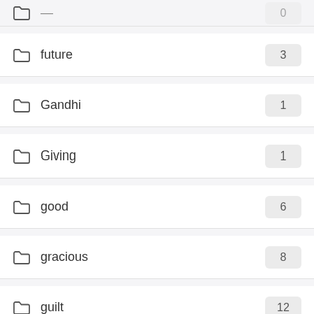future — 3
Gandhi — 1
Giving — 1
good — 6
gracious — 8
guilt — 12
happiness — 33